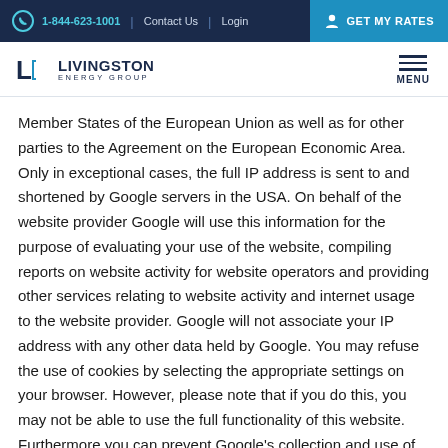1-844-623-1001 | Contact Us | Login | GET MY RATES
[Figure (logo): Livingston Energy Group logo with stylized LE mark]
Member States of the European Union as well as for other parties to the Agreement on the European Economic Area. Only in exceptional cases, the full IP address is sent to and shortened by Google servers in the USA. On behalf of the website provider Google will use this information for the purpose of evaluating your use of the website, compiling reports on website activity for website operators and providing other services relating to website activity and internet usage to the website provider. Google will not associate your IP address with any other data held by Google. You may refuse the use of cookies by selecting the appropriate settings on your browser. However, please note that if you do this, you may not be able to use the full functionality of this website. Furthermore you can prevent Google's collection and use of data (cookies and IP address) by downloading and installing the browser plug-in available under